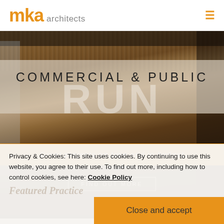mka architects
[Figure (photo): Interior photo of a commercial space/bar with leather booths, wooden walls, Union Jack cushions, pendant lights, and industrial ceiling. Overlaid with 'COMMERCIAL & PUBLIC' text and 'RUN' watermark, orange subtitle band, and FIND OUT MORE button with navigation dots.]
Privacy & Cookies: This site uses cookies. By continuing to use this website, you agree to their use. To find out more, including how to control cookies, see here: Cookie Policy
Close and accept
Featured Practice